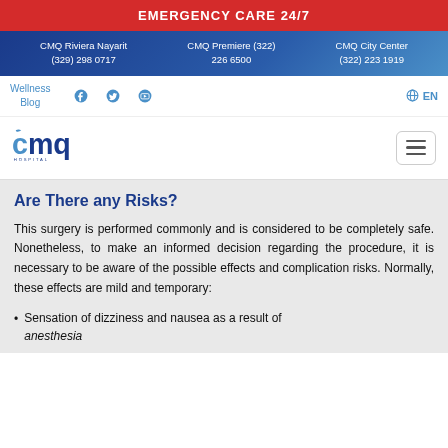EMERGENCY CARE 24/7
CMQ Riviera Nayarit (329) 298 0717 | CMQ Premiere (322) 226 6500 | CMQ City Center (322) 223 1919
Wellness Blog | Social icons | EN
[Figure (logo): CMQ Hospital logo with stylized cmq text and HOSPITAL wordmark]
Are There any Risks?
This surgery is performed commonly and is considered to be completely safe. Nonetheless, to make an informed decision regarding the procedure, it is necessary to be aware of the possible effects and complication risks. Normally, these effects are mild and temporary:
Sensation of dizziness and nausea as a result of anesthesia